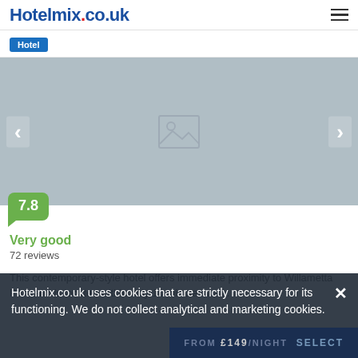Hotelmix.co.uk
Hotel
[Figure (photo): Hotel image placeholder carousel with left/right navigation arrows and a score badge of 7.8]
Very good
72 reviews
This contemporary-style hotel offers immediate proximity to Willametta Park and is located within only 10 minutes walk.
Hotelmix.co.uk uses cookies that are strictly necessary for its functioning. We do not collect analytical and marketing cookies.
from £149/night  SELECT